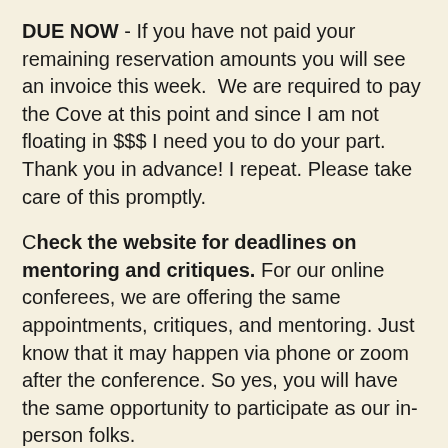DUE NOW - If you have not paid your remaining reservation amounts you will see an invoice this week.  We are required to pay the Cove at this point and since I am not floating in $$$ I need you to do your part. Thank you in advance! I repeat. Please take care of this promptly.
Check the website for deadlines on mentoring and critiques. For our online conferees, we are offering the same appointments, critiques, and mentoring. Just know that it may happen via phone or zoom after the conference. So yes, you will have the same opportunity to participate as our in-person folks.
Just a note to remind you that we will have the BOB BOX set up at the conference. Our